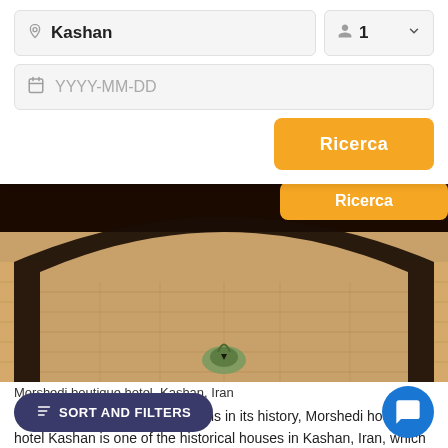Kashan
1
YYYY-MM-DD
Ricerca
[Figure (photo): Partial arch view of Morshedi boutique hotel courtyard with decorative stone tiles and a small fountain/ornamental element at Kashan, Iran. Dark arch framing the lower portion of the image.]
Morshedi boutique hotel, Kashan, Iran
With 250 years of ups and downs in its history, Morshedi house hotel Kashan is one of the historical houses in Kashan, Iran, which has been restored and turned into a traditional hotel. Similar to other historic houses of Kashan, Morshedi House was deteriorating gradually, however, thanks to high potentials of the Iranian tourism industry, there was a change in its fate and it be... ique hotel. With its intimate a... aff, and excellent features, it is no... exaggeration to say that this kind of house is rare or even unique...
SORT AND FILTERS